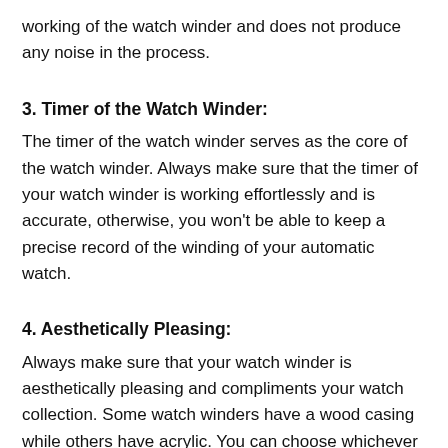working of the watch winder and does not produce any noise in the process.
3. Timer of the Watch Winder:
The timer of the watch winder serves as the core of the watch winder. Always make sure that the timer of your watch winder is working effortlessly and is accurate, otherwise, you won't be able to keep a precise record of the winding of your automatic watch.
4. Aesthetically Pleasing:
Always make sure that your watch winder is aesthetically pleasing and compliments your watch collection. Some watch winders have a wood casing while others have acrylic. You can choose whichever suits your personality and your collection the most. Just make sure that your watch winder is lined with soft fabric and padded walls so that it does not harm your precious watches in any way.